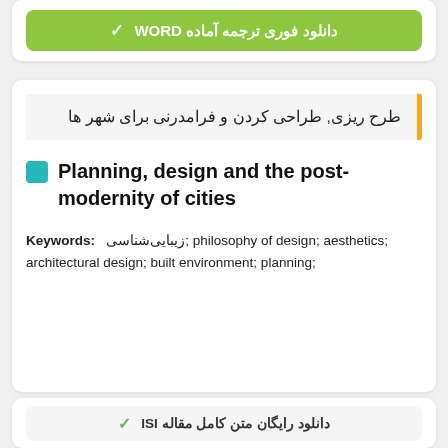دانلود فوری ترجمه آماده WORD
طرح ریزی, طراحی کردن و فرامدرنی برای شهر ها
Planning, design and the post-modernity of cities
Keywords: زیبایی‌شناسی; philosophy of design; aesthetics; architectural design; built environment; planning;
دانلود رایگان متن کامل مقاله ISI